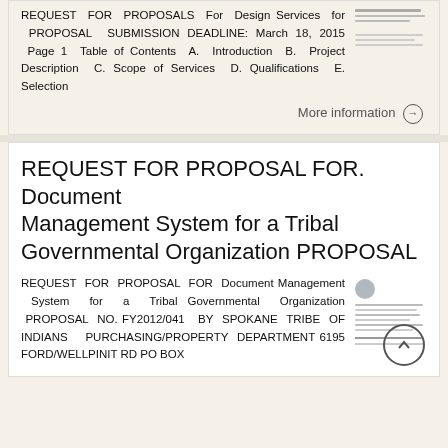Services for New Fire Station
REQUEST FOR PROPOSALS For Design Services for PROPOSAL SUBMISSION DEADLINE: March 18, 2015 Page 1 Table of Contents A. Introduction B. Project Description C. Scope of Services D. Qualifications E. Selection
[Figure (other): Thumbnail image of a document page]
More information →
REQUEST FOR PROPOSAL FOR. Document Management System for a Tribal Governmental Organization PROPOSAL
REQUEST FOR PROPOSAL FOR Document Management System for a Tribal Governmental Organization PROPOSAL NO. FY2012/041 BY SPOKANE TRIBE OF INDIANS PURCHASING/PROPERTY DEPARTMENT 6195 FORD/WELLPINIT RD PO BOX
[Figure (other): Thumbnail image of a document with an eagle logo at top]